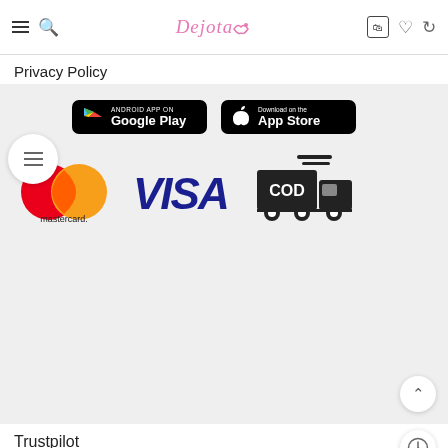Dejota [logo] | hamburger, search, cart, wishlist, refresh icons
Privacy Policy
[Figure (logo): Google Play store download button (black rounded rectangle with Play triangle icon, text: ANDROID APP ON Google Play)]
[Figure (logo): Apple App Store download button (black rounded rectangle with Apple logo, text: Download on the App Store)]
[Figure (logo): Mastercard logo (red and orange overlapping circles with mastercard text below)]
[Figure (logo): VISA logo (blue italic bold text)]
[Figure (logo): COD delivery truck icon (black silhouette of truck with COD box)]
Trustpilot
© 2021 Dejota.com. All Rights reserved.